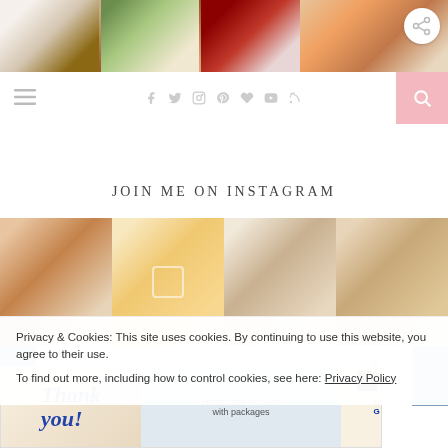[Figure (photo): Top strip with food/floral images on left and orange/colorful image on right, with share icon]
[Figure (screenshot): Navigation bar with hamburger menu, social media icons (facebook, twitter, instagram, pinterest, heart, youtube, rss), and pink search button]
JOIN ME ON INSTAGRAM
[Figure (photo): Instagram grid with four lifestyle photos showing autumn/fall themes]
Privacy & Cookies: This site uses cookies. By continuing to use this website, you agree to their use.
To find out more, including how to control cookies, see here: Privacy Policy
[Figure (photo): Advertisement banner: Operation Gratitude thank you ad with healthcare workers]